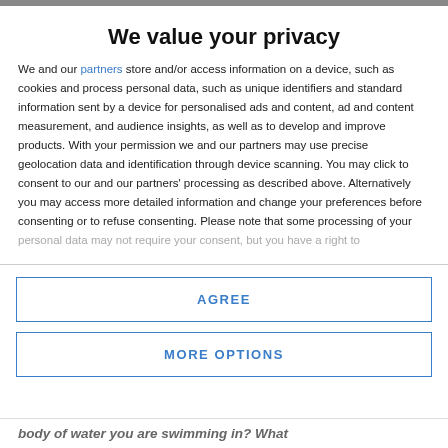We value your privacy
We and our partners store and/or access information on a device, such as cookies and process personal data, such as unique identifiers and standard information sent by a device for personalised ads and content, ad and content measurement, and audience insights, as well as to develop and improve products. With your permission we and our partners may use precise geolocation data and identification through device scanning. You may click to consent to our and our partners' processing as described above. Alternatively you may access more detailed information and change your preferences before consenting or to refuse consenting. Please note that some processing of your personal data may not require your consent, but you have a right to
AGREE
MORE OPTIONS
body of water you are swimming in? What